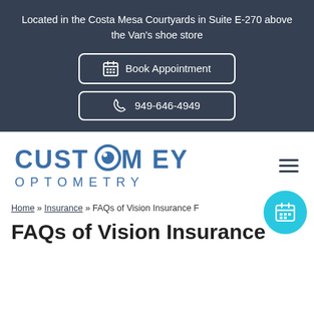Located in the Costa Mesa Courtyards in Suite E-270 above the Van's shoe store
Book Appointment
949-646-4949
[Figure (logo): Custom Eyes Optometry logo with stylized eye in the letter O]
Home » Insurance » FAQs of Vision Insurance F...
FAQs of Vision Insurance